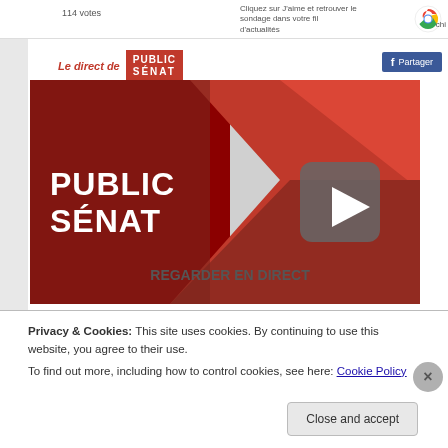114 votes
Cliquez sur J'aime et retrouver le sondage dans votre fil d'actualités
Le direct de PUBLIC SÉNAT
Partager
[Figure (screenshot): Public Sénat live stream thumbnail with play button and text 'REGARDER EN DIRECT']
Privacy & Cookies: This site uses cookies. By continuing to use this website, you agree to their use.
To find out more, including how to control cookies, see here: Cookie Policy
Close and accept